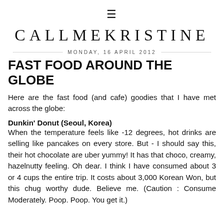≡
CALLMEKRISTINE
MONDAY, 16 APRIL 2012
FAST FOOD AROUND THE GLOBE
Here are the fast food (and cafe) goodies that I have met across the globe:
Dunkin' Donut (Seoul, Korea)
When the temperature feels like -12 degrees, hot drinks are selling like pancakes on every store. But - I should say this, their hot chocolate are uber yummy! It has that choco, creamy, hazelnutty feeling. Oh dear. I think I have consumed about 3 or 4 cups the entire trip. It costs about 3,000 Korean Won, but this chug worthy dude. Believe me. (Caution : Consume Moderately. Poop. Poop. You get it.)